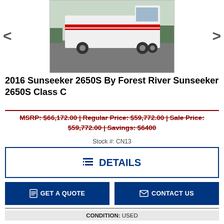[Figure (photo): Photo of a white 2016 Sunseeker 2650S Class C RV motorhome parked on a paved lot with grass and trees in background]
2016 Sunseeker 2650S By Forest River Sunseeker 2650S Class C
MSRP: $66,172.00 | Regular Price: $59,772.00 | Sale Price: $59,772.00 | Savings: $6400
Stock #: CN13
DETAILS
GET A QUOTE
CONTACT US
CONDITION: USED
LOCATION: ANTIGO, WI